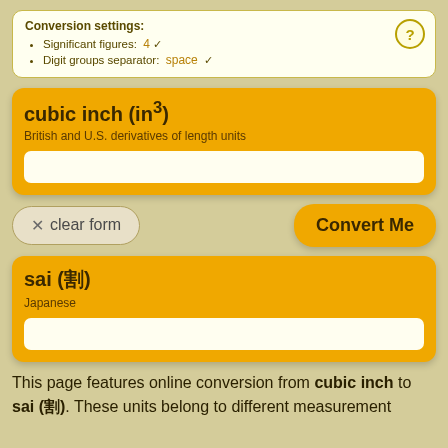Conversion settings: Significant figures: 4 ∨ Digit groups separator: space ∨
cubic inch (in³)
British and U.S. derivatives of length units
× clear form
Convert Me
sai (劺)
Japanese
This page features online conversion from cubic inch to sai (劺). These units belong to different measurement